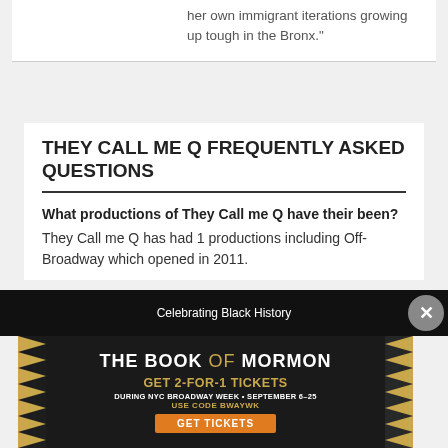her own immigrant iterations growing up tough in the Bronx."
THEY CALL ME Q FREQUENTLY ASKED QUESTIONS
What productions of They Call me Q have their been?
They Call me Q has had 1 productions including Off-Broadway which opened in 2011.
[Figure (screenshot): Advertisement for The Book of Mormon musical: GET 2-FOR-1 TICKETS DURING NYC BROADWAY WEEK • SEPTEMBER 6-25 USE CODE BWAYWK GET TICKETS]
Celebrating Black History